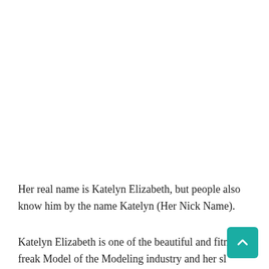Her real name is Katelyn Elizabeth, but people also know him by the name Katelyn (Her Nick Name).
Katelyn Elizabeth is one of the beautiful and fitness freak Model of the Modeling industry and her slim waistline is so so attractive that anyone can be her